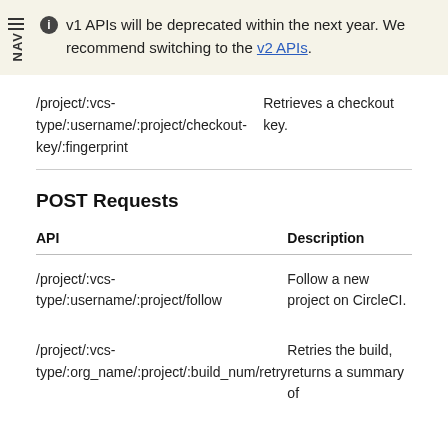v1 APIs will be deprecated within the next year. We recommend switching to the v2 APIs.
| API | Description |
| --- | --- |
| /project/:vcs-type/:username/:project/checkout-key/:fingerprint | Retrieves a checkout key. |
| /project/:vcs-type/:username/:project/follow | Follow a new project on CircleCI. |
| /project/:vcs-type/:org_name/:project/:build_num/retry | Retries the build, returns a summary of |
POST Requests
| API | Description |
| --- | --- |
| /project/:vcs-type/:username/:project/follow | Follow a new project on CircleCI. |
| /project/:vcs-type/:org_name/:project/:build_num/retry | Retries the build, returns a summary of |